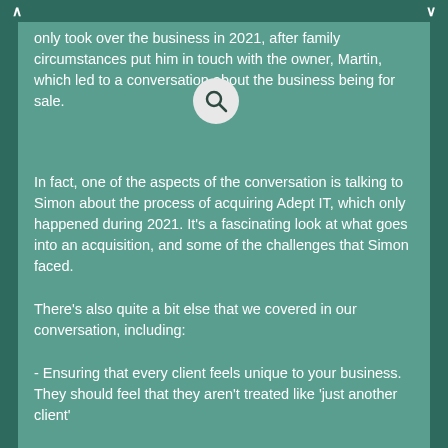only took over the business in 2021, after family circumstances put him in touch with the owner, Martin, which led to a conversation about the business being for sale.
[Figure (other): A circular search/magnifying glass icon in light grey]
In fact, one of the aspects of the conversation is talking to Simon about the process of acquiring Adept IT, which only happened during 2021. It's a fascinating look at what goes into an acquisition, and some of the challenges that Simon faced.
There's also quite a bit else that we covered in our conversation, including:
- Ensuring that every client feels unique to your business. They should feel that they aren't treated like 'just another client'